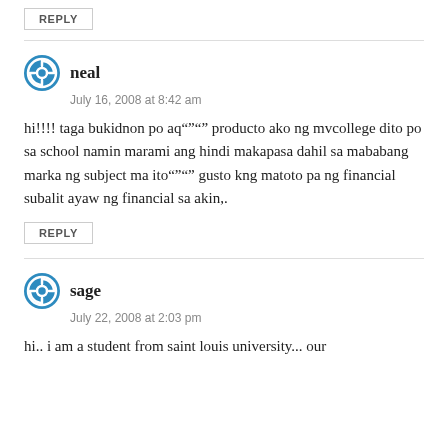REPLY
neal
July 16, 2008 at 8:42 am
hi!!!! taga bukidnon po aq"""" producto ako ng mvcollege dito po sa school namin marami ang hindi makapasa dahil sa mababang marka ng subject ma ito"""" gusto kng matoto pa ng financial subalit ayaw ng financial sa akin,.
REPLY
sage
July 22, 2008 at 2:03 pm
hi.. i am a student from saint louis university... our